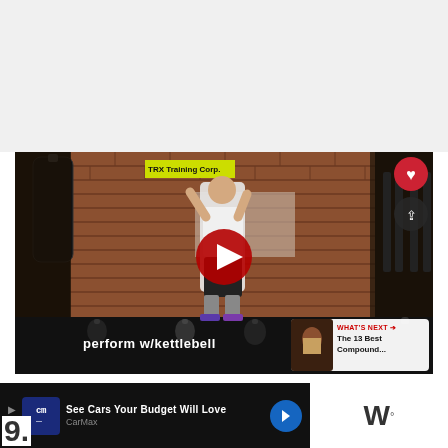[Figure (screenshot): Gray/white blank upper area of a webpage]
[Figure (screenshot): YouTube video thumbnail showing a man performing a kettlebell exercise in a gym with brick walls and fitness equipment. A YouTube play button is overlaid. Text at bottom reads 'perform w/kettlebell'. Heart and share icons visible top-right. 'WHAT'S NEXT' panel bottom-right showing 'The 13 Best Compound...']
[Figure (screenshot): Ad banner: CarMax advertisement 'See Cars Your Budget Will Love' with CarMax logo and navigation arrow. Partial content visible on right side with text 'W' and number '9'.]